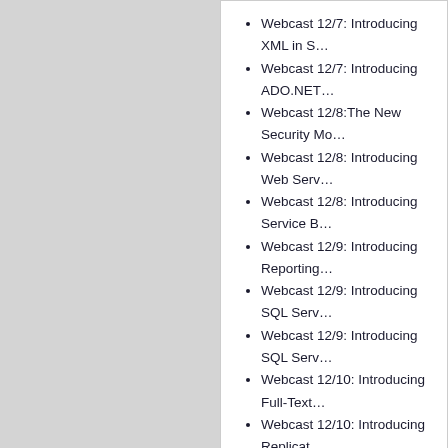Webcast 12/7: Introducing XML in S…
Webcast 12/7: Introducing ADO.NET…
Webcast 12/8:The New Security Mo…
Webcast 12/8: Introducing Web Serv…
Webcast 12/8: Introducing Service B…
Webcast 12/9: Introducing Reporting…
Webcast 12/9: Introducing SQL Serv…
Webcast 12/9: Introducing SQL Serv…
Webcast 12/10: Introducing Full-Text…
Webcast 12/10: Introducing Replicat…
Webcast 12/10: Introducing Notificat…
Thursday, November…
© Copyright 2022 Christoph Wille
newtelligence dasBlog 2.3.9074.18820
[Figure (logo): RSS feed icon (large orange RSS icon), Atom feed icon (small orange RSS icon with ATOM label), and email icon (small green envelope icon)]